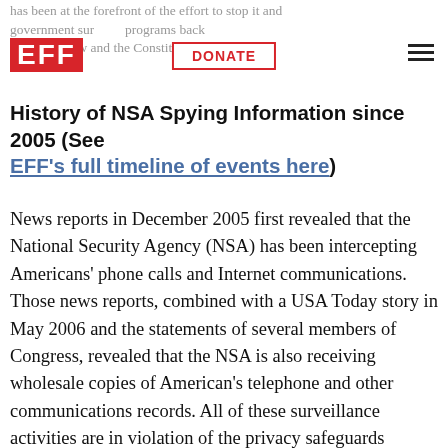has been at the forefront of the effort to stop it and government surveillance programs back within the law and the Constitution.
History of NSA Spying Information since 2005 (See EFF's full timeline of events here)
News reports in December 2005 first revealed that the National Security Agency (NSA) has been intercepting Americans' phone calls and Internet communications. Those news reports, combined with a USA Today story in May 2006 and the statements of several members of Congress, revealed that the NSA is also receiving wholesale copies of American's telephone and other communications records. All of these surveillance activities are in violation of the privacy safeguards established by Congress and the US Constitution.